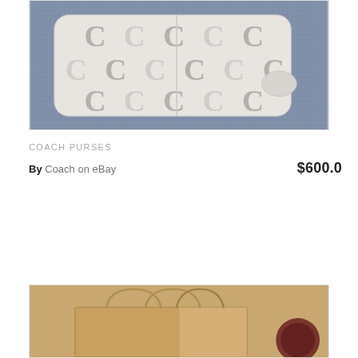[Figure (photo): Coach purse with signature C monogram pattern in gray and white on a blue/gray carpet background]
COACH PURSES
By Coach on eBay  $600.0
[Figure (photo): Brown paper shopping bag with handles, partially visible, dark circular object in background]